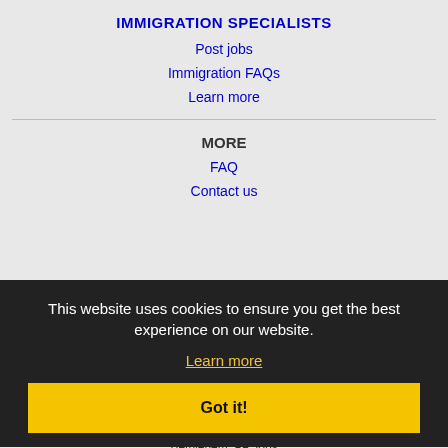IMMIGRATION SPECIALISTS
Post jobs
Immigration FAQs
Learn more
MORE
FAQ
Contact us
Sitemap
Legal
Privacy
This website uses cookies to ensure you get the best experience on our website.
Learn more
Got it!
NEARBY CITIES
Allentown, PA Jobs
Bayonne, NJ Jobs
Bethlehem, PA Jobs